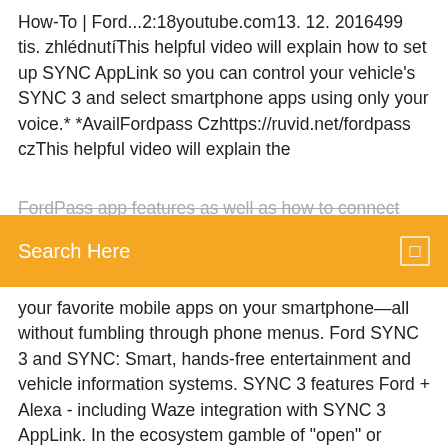How-To | Ford...2:18youtube.com13. 12. 2016499 tis. zhlédnutíThis helpful video will explain how to set up SYNC AppLink so you can control your vehicle's SYNC 3 and select smartphone apps using only your voice.* *AvailFordpass Czhttps://ruvid.net/fordpass czThis helpful video will explain the FordPass app features as well as how to connect and...
[Figure (screenshot): Orange search bar overlay with 'Search Here' text in white and a small white square icon on the right]
your favorite mobile apps on your smartphone—all without fumbling through phone menus. Ford SYNC 3 and SYNC: Smart, hands-free entertainment and vehicle information systems. SYNC 3 features Ford + Alexa - including Waze integration with SYNC 3 AppLink. In the ecosystem gamble of "open" or "closed," Ford is putting all its chips on open. At this week's Mobile World Congress, Ford announced it's releasing the proprietary source code for its Sync AppLink platform to Genivi, an automotive… Objevte svůj účet Ford. Najdete zde například: návod k obsluze,